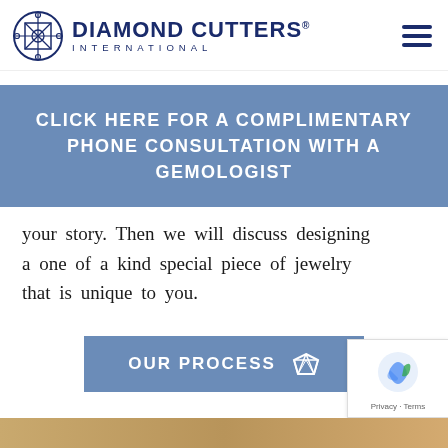Diamond Cutters International
CLICK HERE FOR A COMPLIMENTARY PHONE CONSULTATION WITH A GEMOLOGIST
your story. Then we will discuss designing a one of a kind special piece of jewelry that is unique to you.
[Figure (other): OUR PROCESS button with diamond icon]
[Figure (other): reCAPTCHA badge with Privacy and Terms links]
[Figure (photo): Bottom strip showing partial image of jewelry or hands]